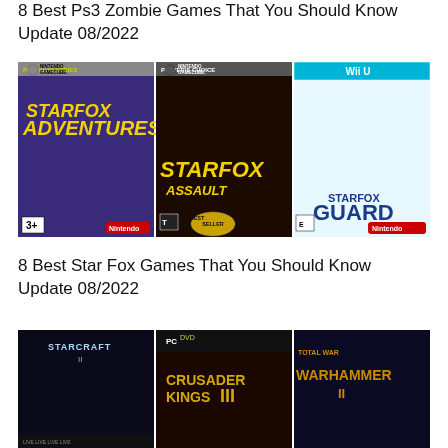8 Best Ps3 Zombie Games That You Should Know Update 08/2022
[Figure (photo): Three video game covers side by side: StarFox Adventures (Nintendo GameCube, Platinum Series), StarFox Assault (Nintendo GameCube, Player's Choice, Best Seller), and StarFox Guard (Wii U)]
8 Best Star Fox Games That You Should Know Update 08/2022
[Figure (photo): Three video game covers side by side: StarCraft II, Crusader Kings III (PC DVD), and Total War: Warhammer II]